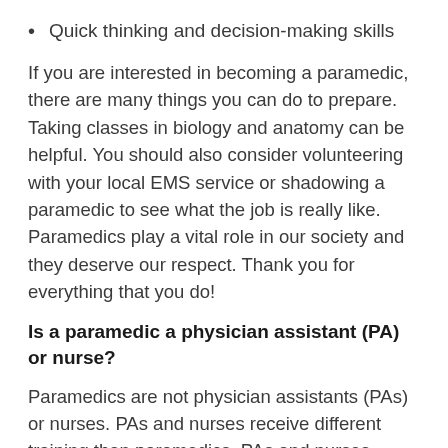Quick thinking and decision-making skills
If you are interested in becoming a paramedic, there are many things you can do to prepare. Taking classes in biology and anatomy can be helpful. You should also consider volunteering with your local EMS service or shadowing a paramedic to see what the job is really like. Paramedics play a vital role in our society and they deserve our respect. Thank you for everything that you do!
Is a paramedic a physician assistant (PA) or nurse?
Paramedics are not physician assistants (PAs) or nurses. PAs and nurses receive different training than paramedics. PAs and nurses complete accredited PA or nursing programs, respectively, whereas paramedics must complete an accredited paramedic program. Although PAs and nurses may provide some emergency medical care, they are not trained to the same level as paramedics. Paramedics are the only medical